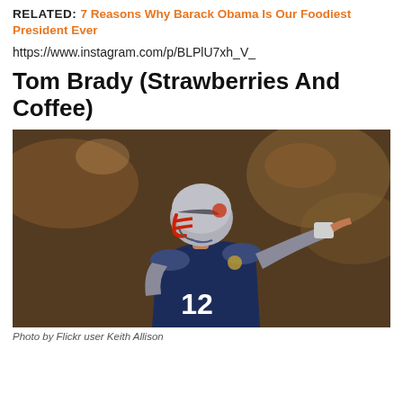RELATED: 7 Reasons Why Barack Obama Is Our Foodiest President Ever
https://www.instagram.com/p/BLPlU7xh_V_
Tom Brady (Strawberries And Coffee)
[Figure (photo): Tom Brady in New England Patriots uniform (#12), wearing helmet with red facemask, pointing with right hand, crowd visible in blurred background]
Photo by Flickr user Keith Allison